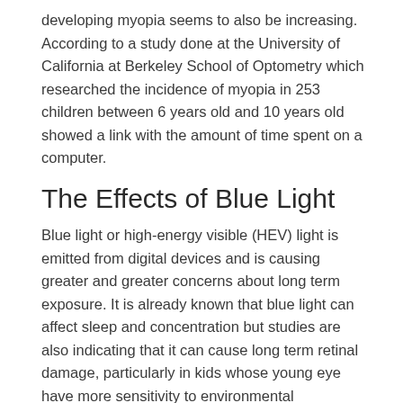developing myopia seems to also be increasing. According to a study done at the University of California at Berkeley School of Optometry which researched the incidence of myopia in 253 children between 6 years old and 10 years old showed a link with the amount of time spent on a computer.
The Effects of Blue Light
Blue light or high-energy visible (HEV) light is emitted from digital devices and is causing greater and greater concerns about long term exposure. It is already known that blue light can affect sleep and concentration but studies are also indicating that it can cause long term retinal damage, particularly in kids whose young eye have more sensitivity to environmental influences.
How to Protect Your Children from CVS